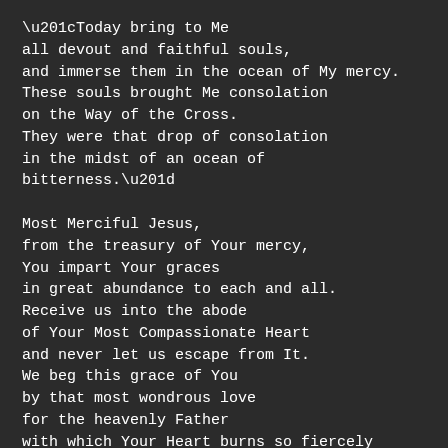“Today bring to Me
all devout and faithful souls,
and immerse them in the ocean of My mercy.
These souls brought Me consolation
on the Way of the Cross.
They were that drop of consolation
in the midst of an ocean of bitterness.”
Most Merciful Jesus,
from the treasury of Your mercy,
You impart Your graces
in great abundance to each and all.
Receive us into the abode
of Your Most Compassionate Heart
and never let us escape from It.
We beg this grace of You
by that most wondrous love
for the heavenly Father
with which Your Heart burns so fiercely